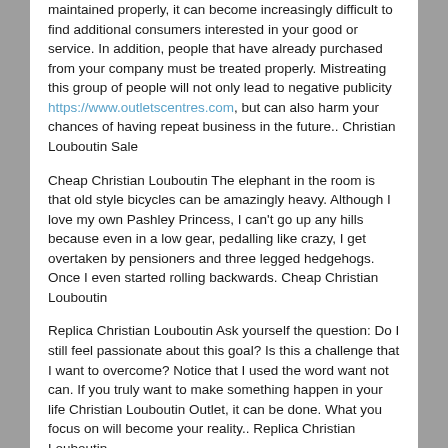maintained properly, it can become increasingly difficult to find additional consumers interested in your good or service. In addition, people that have already purchased from your company must be treated properly. Mistreating this group of people will not only lead to negative publicity https://www.outletscentres.com, but can also harm your chances of having repeat business in the future.. Christian Louboutin Sale
Cheap Christian Louboutin The elephant in the room is that old style bicycles can be amazingly heavy. Although I love my own Pashley Princess, I can't go up any hills because even in a low gear, pedalling like crazy, I get overtaken by pensioners and three legged hedgehogs. Once I even started rolling backwards. Cheap Christian Louboutin
Replica Christian Louboutin Ask yourself the question: Do I still feel passionate about this goal? Is this a challenge that I want to overcome? Notice that I used the word want not can. If you truly want to make something happen in your life Christian Louboutin Outlet, it can be done. What you focus on will become your reality.. Replica Christian Louboutin
Christian Louboutin Clearance The brightly colored plants and vegetables will enliven your living space and make you feel good about life. Just as you crave sunlight and warmth in the cold winter